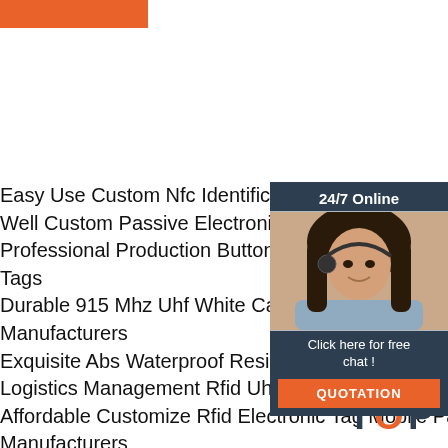[Figure (other): Orange rectangular banner/bar at top left]
Easy Use Custom Nfc Identification Chip 504 Byte Memory Ntag215 Sticker Price T Well Custom Passive Electronic Tag 9662 Inventory Goods Logistics Management
Professional Production Button Type Gras Washing Rfid Uhf Double Orifice Pps Mat Tags
Durable 915 Mhz Uhf White Card 6 C Pro Passive Uhf White Card H3-9662 White C Manufacturers
Exquisite Abs Waterproof Resistance Metal Tag Logistics Management Rfid Uhf Tags
Affordable Customize Rfid Electronic Tag Mobile Payment F08 Nfc Chip Resistance Metal Label Manufacturers
The New Doornail Trees Label Park Park Trash
[Figure (photo): Customer service representative woman with headset, smiling, with 24/7 Online label, Click here for free chat text, and orange QUOTATION button]
[Figure (logo): TOP logo with red dots above and orange/dark text]